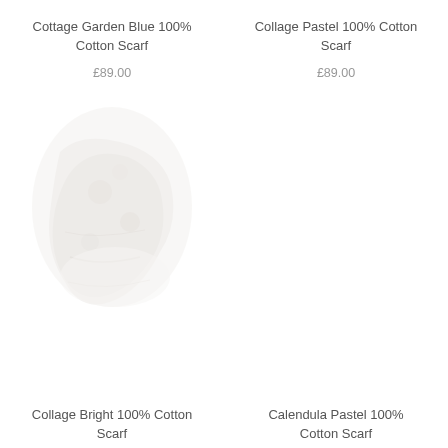Cottage Garden Blue 100% Cotton Scarf
£89.00
Collage Pastel 100% Cotton Scarf
£89.00
[Figure (photo): A faded/washed-out photo of a bundled cotton scarf with floral pattern, shown folded on a white background]
Collage Bright 100% Cotton Scarf
Calendula Pastel 100% Cotton Scarf